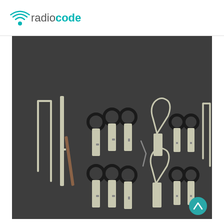radiocode
[Figure (photo): A set of car radio removal tools laid out on a dark grey surface. The tools include various metal keys with black ring handles, U-shaped extraction tools, a pry tool, a small hex/Allen key, and other specialized removal tools used for extracting car stereo units from dashboard panels.]